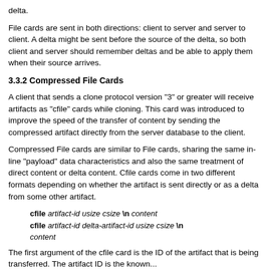delta.
File cards are sent in both directions: client to server and server to client. A delta might be sent before the source of the delta, so both client and server should remember deltas and be able to apply them when their source arrives.
3.3.2 Compressed File Cards
A client that sends a clone protocol version "3" or greater will receive artifacts as "cfile" cards while cloning. This card was introduced to improve the speed of the transfer of content by sending the compressed artifact directly from the server database to the client.
Compressed File cards are similar to File cards, sharing the same in-line "payload" data characteristics and also the same treatment of direct content or delta content. Cfile cards come in two different formats depending on whether the artifact is sent directly or as a delta from some other artifact.
cfile artifact-id usize csize \n content
cfile artifact-id delta-artifact-id usize csize \n content
The first argument of the cfile card is the ID of the artifact that is being transferred. The artifact ID is the known...